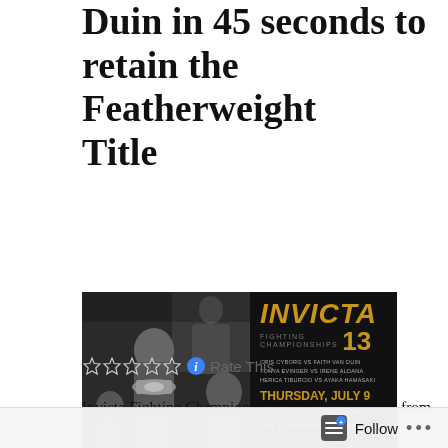Duin in 45 seconds to retain the Featherweight Title
[Figure (photo): Invicta Fighting Championships 13 event poster showing female MMA fighters in black and white on the left, and the event details in gold and white text on the right. Fighters shown include Cris Cyborg vs Faith Van Duin, Tonya Evinger vs Irene Aldana, Herica Tiburcio vs Ayaka Hamasaki. Event: Thursday July 9, 7 PM Doors / 8 PM Start, The Cosmopolitan Las Vegas. Tickets via Ticketmaster, Live on UFC.]
Rate This
Invicta Fighting Championships held its first event from